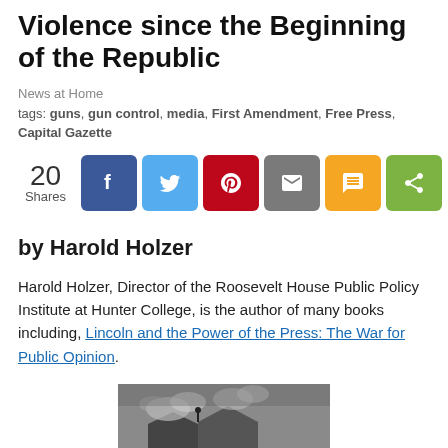Violence since the Beginning of the Republic
News at Home
tags: guns, gun control, media, First Amendment, Free Press, Capital Gazette
[Figure (other): Social share buttons showing 20 Shares, with Facebook, Twitter, Pinterest, Email, SMS, and Share icons]
by Harold Holzer
Harold Holzer, Director of the Roosevelt House Public Policy Institute at Hunter College, is the author of many books including, Lincoln and the Power of the Press: The War for Public Opinion.
[Figure (photo): Black and white historical photograph showing a building with smoke, possibly depicting a scene of violence or fire]